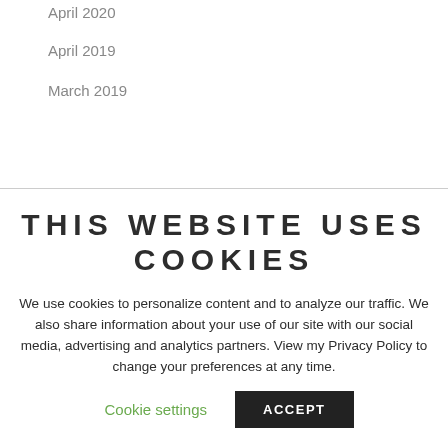April 2020
April 2019
March 2019
THIS WEBSITE USES COOKIES
We use cookies to personalize content and to analyze our traffic. We also share information about your use of our site with our social media, advertising and analytics partners. View my Privacy Policy to change your preferences at any time.
Cookie settings   ACCEPT